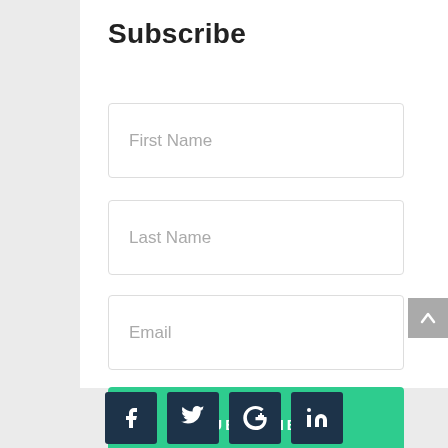Subscribe
First Name
Last Name
Email
SUBSCRIBE
[Figure (infographic): Social media icon buttons: Facebook (f), Twitter (bird), Google+ (G+), LinkedIn (in) — dark navy rounded square icons]